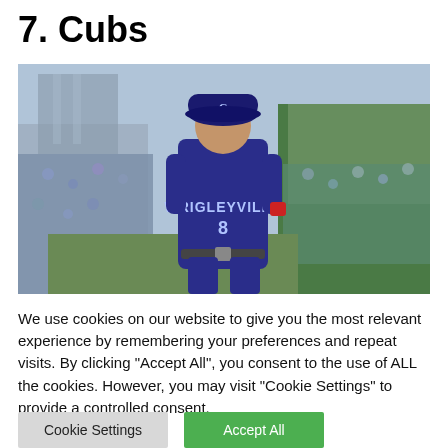7. Cubs
[Figure (photo): A Chicago Cubs baseball player wearing a navy blue 'Wrigleyville' jersey with number 8, walking on the field at Wrigley Field. The crowd is visible in the background along with the green ivy-covered outfield wall.]
We use cookies on our website to give you the most relevant experience by remembering your preferences and repeat visits. By clicking "Accept All", you consent to the use of ALL the cookies. However, you may visit "Cookie Settings" to provide a controlled consent.
Cookie Settings
Accept All